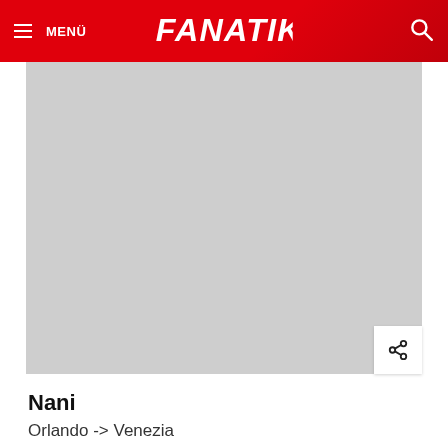MENÜ | FANATIK
[Figure (photo): Light gray placeholder image area for a sports/transfer news photo, with a share button in the bottom right corner.]
Nani
Orlando -> Venezia
Bonservis: Bedelsiz